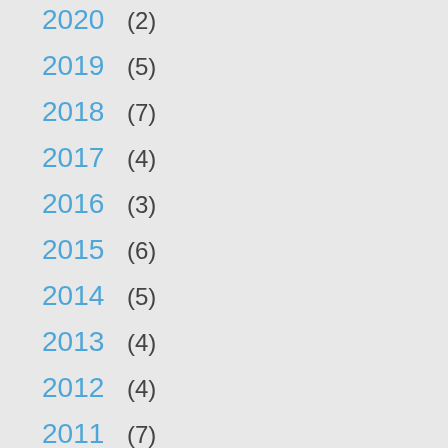2020 (2)
2019 (5)
2018 (7)
2017 (4)
2016 (3)
2015 (6)
2014 (5)
2013 (4)
2012 (4)
2011 (7)
2010 (7)
2009 (4)